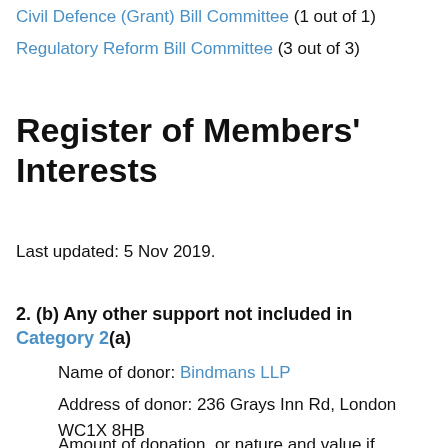Civil Defence (Grant) Bill Committee (1 out of 1)
Regulatory Reform Bill Committee (3 out of 3)
Register of Members' Interests
Last updated: 5 Nov 2019.
2. (b) Any other support not included in Category 2(a)
Name of donor: Bindmans LLP
Address of donor: 236 Grays Inn Rd, London WC1X 8HB
Amount of donation, or nature and value if